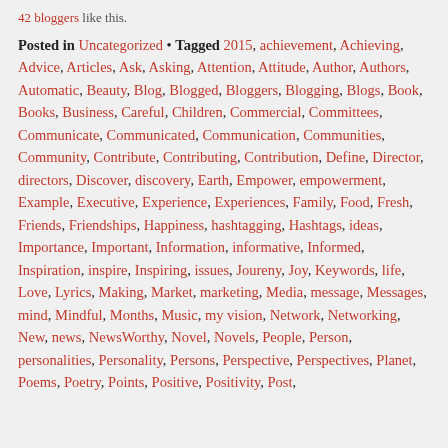42 bloggers like this.
Posted in Uncategorized • Tagged 2015, achievement, Achieving, Advice, Articles, Ask, Asking, Attention, Attitude, Author, Authors, Automatic, Beauty, Blog, Blogged, Bloggers, Blogging, Blogs, Book, Books, Business, Careful, Children, Commercial, Committees, Communicate, Communicated, Communication, Communities, Community, Contribute, Contributing, Contribution, Define, Director, directors, Discover, discovery, Earth, Empower, empowerment, Example, Executive, Experience, Experiences, Family, Food, Fresh, Friends, Friendships, Happiness, hashtagging, Hashtags, ideas, Importance, Important, Information, informative, Informed, Inspiration, inspire, Inspiring, issues, Joureny, Joy, Keywords, life, Love, Lyrics, Making, Market, marketing, Media, message, Messages, mind, Mindful, Months, Music, my vision, Network, Networking, New, news, NewsWorthy, Novel, Novels, People, Person, personalities, Personality, Persons, Perspective, Perspectives, Planet, Poems, Poetry, Points, Positive, Positivity, Post,